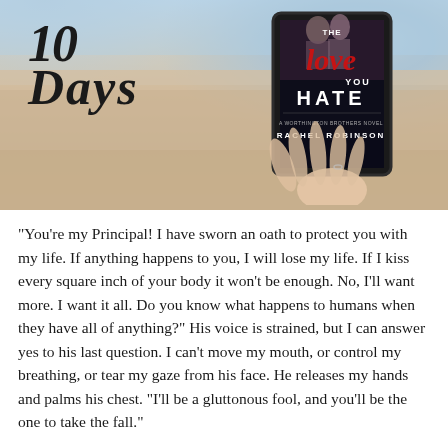[Figure (photo): A hand holding a Kindle/e-reader displaying the book cover 'The Love You Hate' by Rachel Robinson, set against a sandy beach background. The text '10 Days' appears in handwritten/script style on the left side of the image.]
“You’re my Principal! I have sworn an oath to protect you with my life. If anything happens to you, I will lose my life. If I kiss every square inch of your body it won’t be enough. No, I’ll want more. I want it all. Do you know what happens to humans when they have all of anything?” His voice is strained, but I can answer yes to his last question. I can’t move my mouth, or control my breathing, or tear my gaze from his face. He releases my hands and palms his chest. “I’ll be a gluttonous fool, and you’ll be the one to take the fall.”